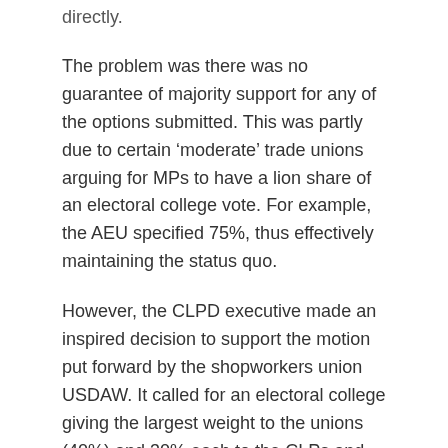directly.
The problem was there was no guarantee of majority support for any of the options submitted. This was partly due to certain ‘moderate’ trade unions arguing for MPs to have a lion share of an electoral college vote. For example, the AEU specified 75%, thus effectively maintaining the status quo.
However, the CLPD executive made an inspired decision to support the motion put forward by the shopworkers union USDAW. It called for an electoral college giving the largest weight to the unions (40%) and 30% each to the CLPs and MPs.
USDAW had a block vote of 429000 votes, sufficiently large to be pivotal in a close contest. If other unions and CLP delegates swung behind this motion there